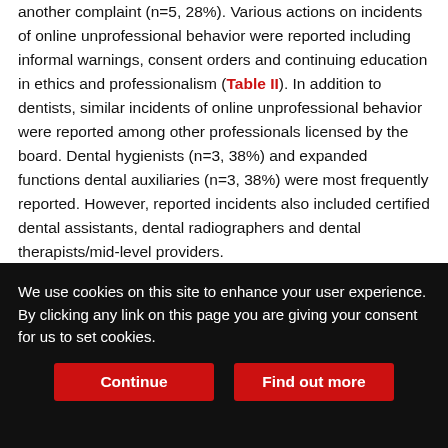another complaint (n=5, 28%). Various actions on incidents of online unprofessional behavior were reported including informal warnings, consent orders and continuing education in ethics and professionalism (Table II). In addition to dentists, similar incidents of online unprofessional behavior were reported among other professionals licensed by the board. Dental hygienists (n=3, 38%) and expanded functions dental auxiliaries (n=3, 38%) were most frequently reported. However, reported incidents also included certified dental assistants, dental radiographers and dental therapists/mid-level providers.
Table I. State dental licensing board demographics